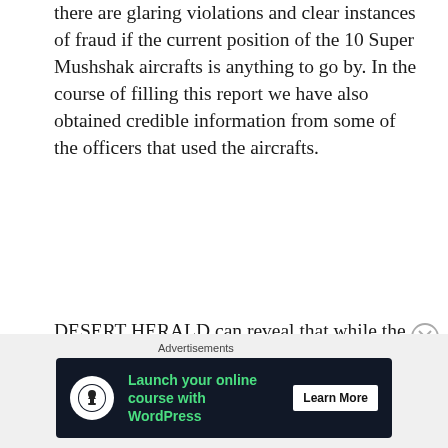there are glaring violations and clear instances of fraud if the current position of the 10 Super Mushshak aircrafts is anything to go by. In the course of filling this report we have also obtained credible information from some of the officers that used the aircrafts.
DESERT HERALD can reveal that while the final delivery of the 10 aircrafts was concluded in April 2018, all the 10 have already started giving problems by 2019, less than one year after delivery and elaborate ceremony/media propaganda that deceived the President and Nigerians. All the 10 aircrafts were based in Kaduna. This paper can confirm that their serviceability status considering the questionable nature of the contract which
Advertisements
[Figure (infographic): Dark advertisement banner: icon of person with upload arrow in white circle, green text 'Launch your online course with WordPress', white 'Learn More' button on dark background]